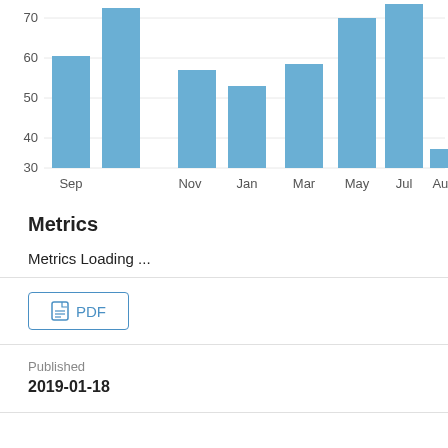[Figure (bar-chart): ]
Metrics
Metrics Loading ...
[Figure (other): PDF download button with document icon]
Published
2019-01-18